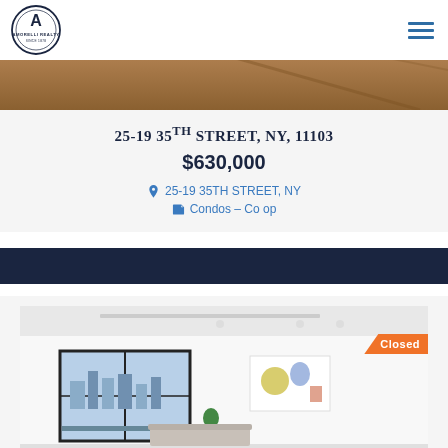[Figure (logo): Amorelli Realty logo — circular emblem with letter A, text AMORELLI REALTY, SINCE 1978]
[Figure (photo): Partial interior photo cropped at top — warm-toned wood ceiling or floor surface]
25-19 35TH STREET, NY, 11103
$630,000
25-19 35TH STREET, NY
Condos – Co op
[Figure (photo): Interior photo of a modern white living room with large black-framed windows, recessed lighting, abstract artwork on wall, small plant. Orange 'Closed' badge in top-right corner.]